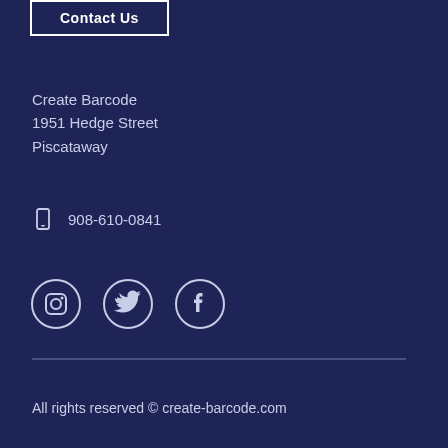Contact Us
Create Barcode
1951 Hedge Street
Piscataway
908-610-0841
[Figure (illustration): Three social media icons: Instagram, Twitter, Facebook — white icons on dark navy circular outlines]
All rights reserved © create-barcode.com